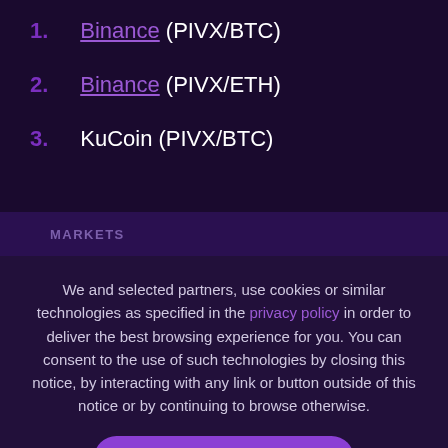1. Binance (PIVX/BTC)
2. Binance (PIVX/ETH)
3. KuCoin (PIVX/BTC)
MARKETS
We and selected partners, use cookies or similar technologies as specified in the privacy policy in order to deliver the best browsing experience for you. You can consent to the use of such technologies by closing this notice, by interacting with any link or button outside of this notice or by continuing to browse otherwise.
ACCEPT COOKIES